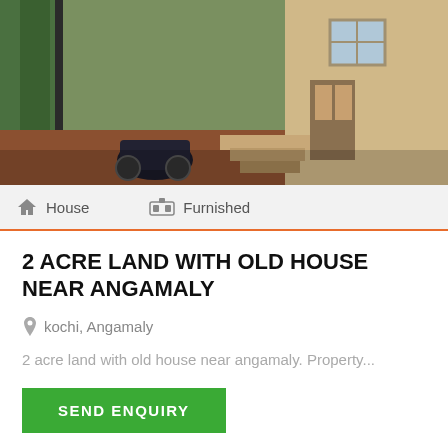[Figure (photo): Exterior photo of an old house with steps, a motorcycle parked outside, trees and a utility pole visible]
House   Furnished
2 ACRE LAND WITH OLD HOUSE NEAR ANGAMALY
kochi, Angamaly
2 acre land with old house near angamaly. Property...
SEND ENQUIRY
₹ 25000000